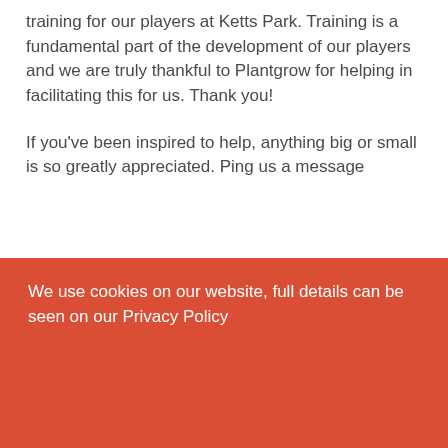training for our players at Ketts Park. Training is a fundamental part of the development of our players and we are truly thankful to Plantgrow for helping in facilitating this for us. Thank you!

If you've been inspired to help, anything big or small is so greatly appreciated. Ping us a message
www.rocklandunitedfc.uk
#Rocks ⚽●
[Figure (photo): Outdoor sports ground photo showing floodlight poles and pale sky]
We use cookies on our website, full details can be seen on our Privacy Policy
Accept